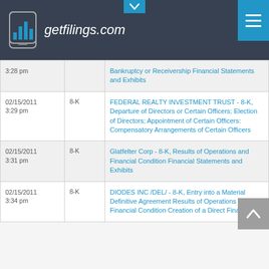getfilings.com
| Date/Time | Type | Filing |
| --- | --- | --- |
| 02/15/2011 3:28 pm |  | Bankruptcy or Receivership Financial Statements and Exhibits |
| 02/15/2011 3:29 pm | 8-K | FEDERAL REALTY INVESTMENT TRUST - 8-K, Departure of Directors or Certain Officers; Election of Directors; Appointment of Certain Officers: Compensatory Arrangements of Certain Officers |
| 02/15/2011 3:31 pm | 8-K | Glatfelter Corp - 8-K, Results of Operations and Financial Condition Financial Statements and Exhibits |
| 02/15/2011 3:34 pm | 8-K | DIODES INC /DEL/ - 8-K, Entry into a Material Definitive Agreement Results of Operations and Financial Condition Creation of a Direct Financial... |